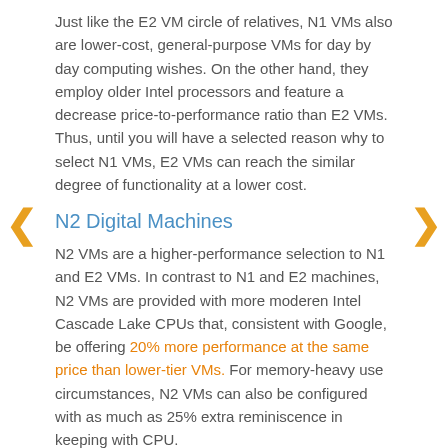Just like the E2 VM circle of relatives, N1 VMs also are lower-cost, general-purpose VMs for day by day computing wishes. On the other hand, they employ older Intel processors and feature a decrease price-to-performance ratio than E2 VMs. Thus, until you will have a selected reason why to select N1 VMs, E2 VMs can reach the similar degree of functionality at a lower cost.
N2 Digital Machines
N2 VMs are a higher-performance selection to N1 and E2 VMs. In contrast to N1 and E2 machines, N2 VMs are provided with more moderen Intel Cascade Lake CPUs that, consistent with Google, be offering 20% more performance at the same price than lower-tier VMs. For memory-heavy use circumstances, N2 VMs can also be configured with as much as 25% extra reminiscence in keeping with CPU.